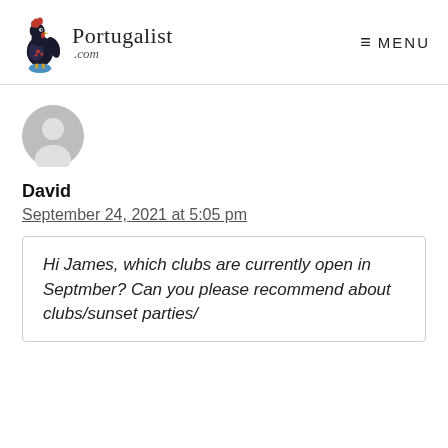Portugalist .com  MENU
[Figure (illustration): Grey default avatar/user icon circle]
David
September 24, 2021 at 5:05 pm
Hi James, which clubs are currently open in Septmber? Can you please recommend about clubs/sunset parties/